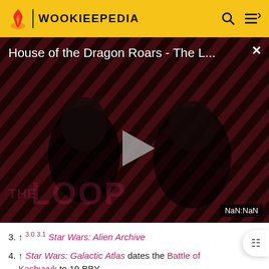WOOKIEEPEDIA
[Figure (screenshot): Video player thumbnail showing 'House of the Dragon Roars - The L...' with striped dark red background, two figures, THE LOOP text watermark, play button, and NaN:NaN timestamp]
3. ↑ 3.0 3.1 Star Wars: Alien Archive
4. ↑ Star Wars: Galactic Atlas dates the Battle of Kashyyyk to 19 BBY.
5. ↑ Star Wars: Alien Archive establishes that the restored in-universe journal discusses Poe Dameron's